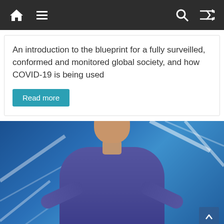Navigation bar with home, menu, search, and shuffle icons
An introduction to the blueprint for a fully surveilled, conformed and monitored global society, and how COVID-19 is being used
Read more
[Figure (photo): A man in a navy blue long-sleeve shirt speaking on a stage with a blue geometric background with white light streaks]